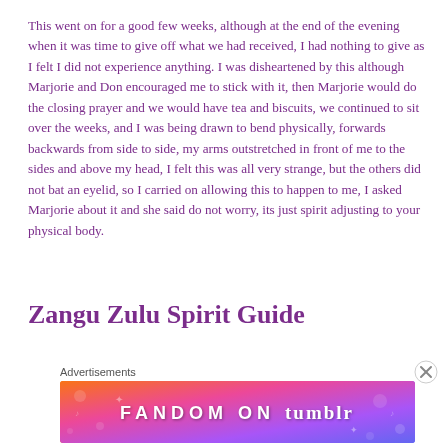This went on for a good few weeks, although at the end of the evening when it was time to give off what we had received, I had nothing to give as I felt I did not experience anything. I was disheartened by this although Marjorie and Don encouraged me to stick with it, then Marjorie would do the closing prayer and we would have tea and biscuits, we continued to sit over the weeks, and I was being drawn to bend physically, forwards backwards from side to side, my arms outstretched in front of me to the sides and above my head, I felt this was all very strange, but the others did not bat an eyelid, so I carried on allowing this to happen to me, I asked Marjorie about it and she said do not worry, its just spirit adjusting to your physical body.
Zangu Zulu Spirit Guide
Advertisements
[Figure (other): Fandom on Tumblr advertisement banner with colorful gradient background (orange to pink to purple) and bold white text reading FANDOM ON tumblr with decorative icons]